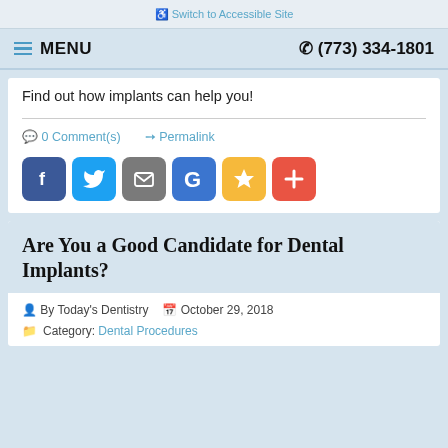♿ Switch to Accessible Site
≡ MENU  ☎ (773) 334-1801
Find out how implants can help you!
0 Comment(s)    Permalink
[Figure (other): Social sharing icons: Facebook, Twitter, Email, Google, Star/Bookmark, Plus]
Are You a Good Candidate for Dental Implants?
By Today's Dentistry   October 29, 2018
Category: Dental Procedures